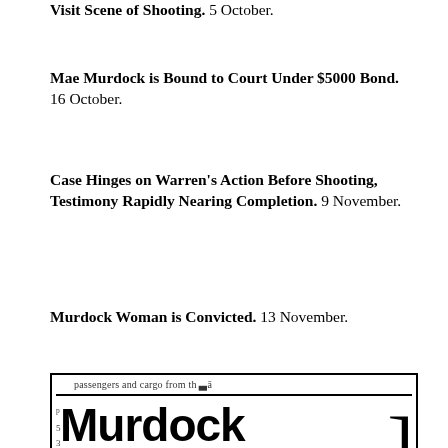Visit Scene of Shooting. 5 October.
Mae Murdock is Bound to Court Under $5000 Bond. 16 October.
Case Hinges on Warren's Action Before Shooting, Testimony Rapidly Nearing Completion. 9 November.
Murdock Woman is Convicted. 13 November.
[Figure (photo): Newspaper clipping showing partial text 'passengers and cargo from th' at top, a horizontal rule, and large bold headline reading 'Murdock' with partial second line visible, with left margin numbers and right bracket visible.]